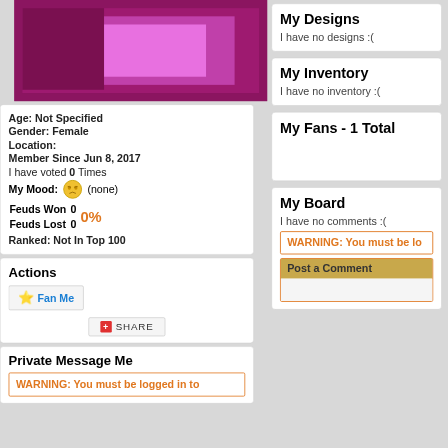[Figure (illustration): Abstract profile image with nested pink/magenta rectangles on dark maroon background]
Age: Not Specified
Gender: Female
Location:
Member Since Jun 8, 2017
I have voted 0 Times
My Mood: (none)
Feuds Won 0  0%
Feuds Lost 0
Ranked: Not In Top 100
Actions
Fan Me
SHARE
Private Message Me
WARNING: You must be logged in to
My Designs
I have no designs :(
My Inventory
I have no inventory :(
My Fans - 1 Total
My Board
I have no comments :(
WARNING: You must be lo
Post a Comment